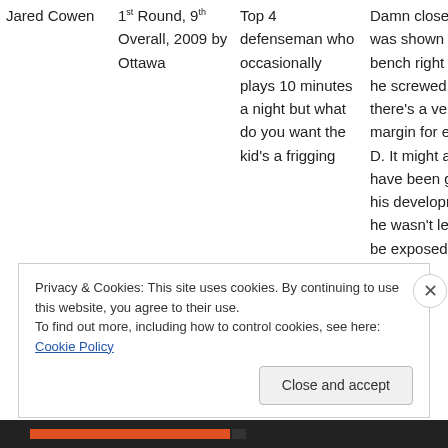| Jared Cowen | 1st Round, 9th Overall, 2009 by Ottawa | Top 4 defenseman who occasionally plays 10 minutes a night but what do you want the kid's a frigging | Damn close to it was shown the bench right quick he screwed up a there's a very sli margin for error D. It might actua have been good his development he wasn't left ou be exposed too |
Privacy & Cookies: This site uses cookies. By continuing to use this website, you agree to their use. To find out more, including how to control cookies, see here: Cookie Policy